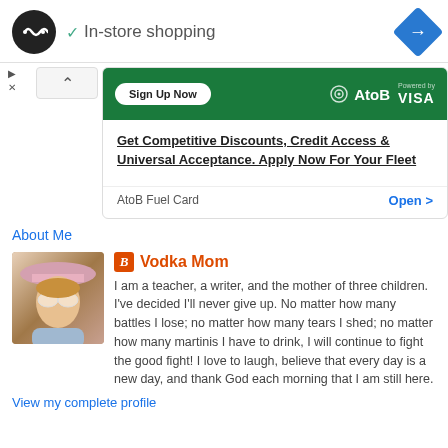[Figure (screenshot): Google Maps style header showing a black circular logo with infinity symbol, checkmark with 'In-store shopping' text, and blue diamond navigation icon]
[Figure (screenshot): Advertisement: AtoB Fuel Card on green background with 'Sign Up Now' button and Visa logo]
Get Competitive Discounts, Credit Access & Universal Acceptance. Apply Now For Your Fleet
AtoB Fuel Card     Open >
About Me
[Figure (photo): Profile photo of a woman wearing a hat and masquerade-style mask]
Vodka Mom
I am a teacher, a writer, and the mother of three children. I've decided I'll never give up. No matter how many battles I lose; no matter how many tears I shed; no matter how many martinis I have to drink, I will continue to fight the good fight! I love to laugh, believe that every day is a new day, and thank God each morning that I am still here.
View my complete profile